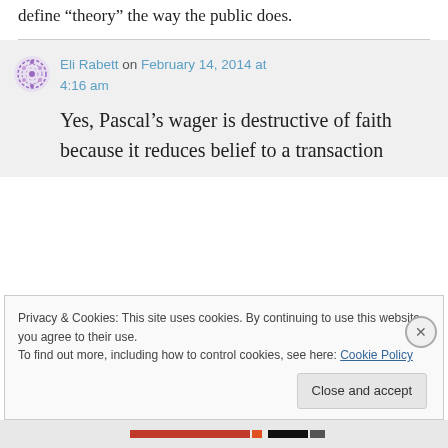define “theory” the way the public does.
Eli Rabett on February 14, 2014 at 4:16 am
Yes, Pascal’s wager is destructive of faith because it reduces belief to a transaction
Privacy & Cookies: This site uses cookies. By continuing to use this website, you agree to their use. To find out more, including how to control cookies, see here: Cookie Policy
Close and accept